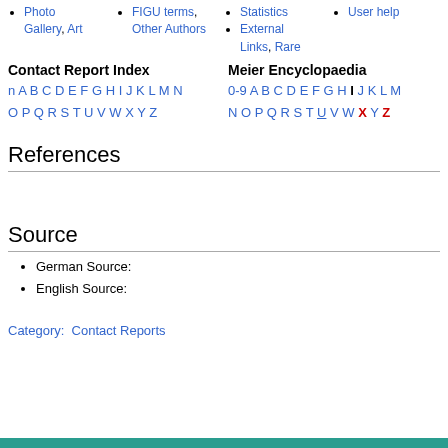Photo Gallery, Art
FIGU terms, Other Authors
Statistics
User help
External Links, Rare
Contact Report Index
n A B C D E F G H I J K L M N O P Q R S T U V W X Y Z
Meier Encyclopaedia
0-9 A B C D E F G H I J K L M N O P Q R S T U V W X Y Z
References
Source
German Source:
English Source:
Category:  Contact Reports